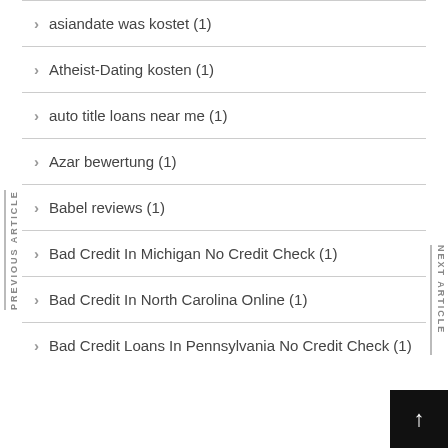asiandate was kostet (1)
Atheist-Dating kosten (1)
auto title loans near me (1)
Azar bewertung (1)
Babel reviews (1)
Bad Credit In Michigan No Credit Check (1)
Bad Credit In North Carolina Online (1)
Bad Credit Loans In Pennsylvania No Credit Check (1)